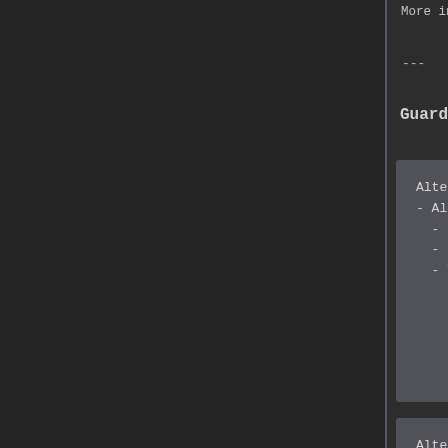More indepth control over how the Press Co...
---
Guarding
Alter Changeability:
- Allow the cost type and valu...
  - Unchanged - Cost type is u...
  - Permanent - Cost type can...
  - Temporary - Cost type can...
Alter Cost Type:
- Change the cost type to this...
- Use 'Unchanged' for no chang...
  - Unchanged - No changes are...
  - Consume - Removes half, o...
  - Convert - Converts full =...
  -Compress - Consumes half, c...
Alter Cost Value:
- What is the default action o...